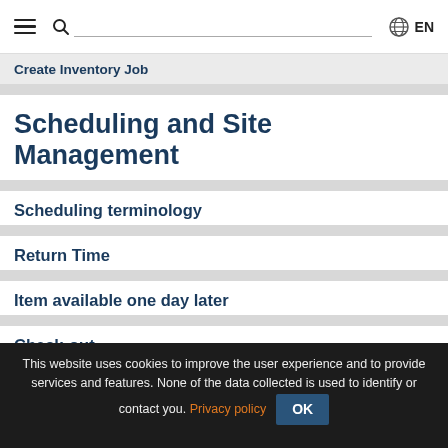≡  🔍 ________________  🌐 EN
Create Inventory Job
Scheduling and Site Management
Scheduling terminology
Return Time
Item available one day later
Check-out
This website uses cookies to improve the user experience and to provide services and features. None of the data collected is used to identify or contact you. Privacy policy  OK